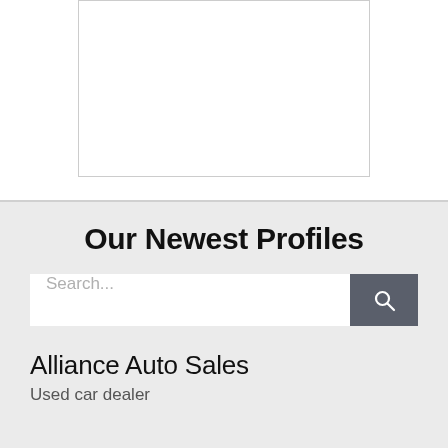[Figure (other): Empty white image box with light gray border in the upper section of the page]
Our Newest Profiles
[Figure (screenshot): Search bar with placeholder text 'Search...' and a dark gray search button with magnifying glass icon]
Alliance Auto Sales
Used car dealer